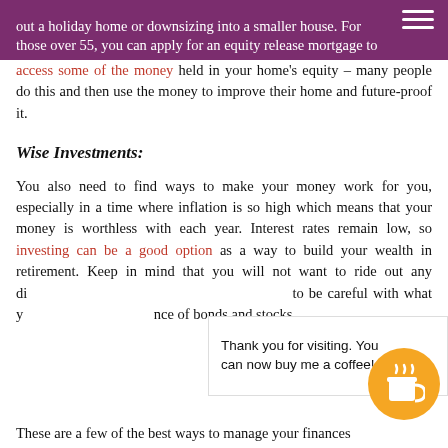out a holiday home or downsizing into a smaller house. For those over 55, you can apply for an equity release mortgage to access some of the money held in your home's equity – many people do this and then use the money to improve their home and future-proof it.
Wise Investments:
You also need to find ways to make your money work for you, especially in a time where inflation is so high which means that your money is worthless with each year. Interest rates remain low, so investing can be a good option as a way to build your wealth in retirement. Keep in mind that you will not want to ride out any di[...] to be careful with what y[...] nce of bonds and stocks[...]
These are a few of the best ways to manage your finances